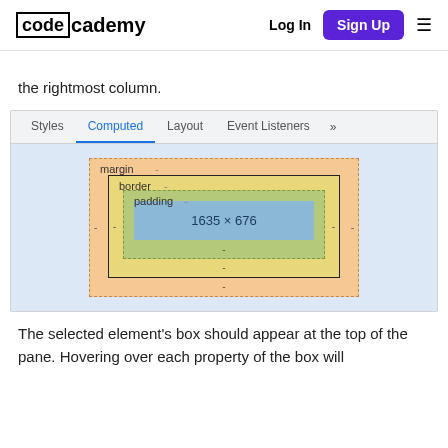codecademy — Log In | Sign Up
the rightmost column.
[Figure (screenshot): Browser DevTools panel showing Styles/Computed/Layout/Event Listeners tabs, with the Computed tab active and a box model diagram showing margin, border, padding layers and a content area of 1635 × 676]
The selected element's box should appear at the top of the pane. Hovering over each property of the box will